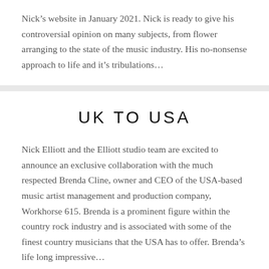Nick's website in January 2021. Nick is ready to give his controversial opinion on many subjects, from flower arranging to the state of the music industry. His no-nonsense approach to life and it's tribulations...
UK TO USA
Nick Elliott and the Elliott studio team are excited to announce an exclusive collaboration with the much respected Brenda Cline, owner and CEO of the USA-based music artist management and production company, Workhorse 615. Brenda is a prominent figure within the country rock industry and is associated with some of the finest country musicians that the USA has to offer. Brenda's life long impressive...